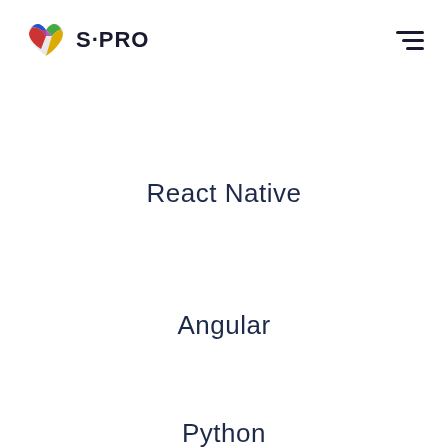[Figure (logo): S-PRO company logo with colorful heart icon and S-PRO text]
React Native
Angular
Python